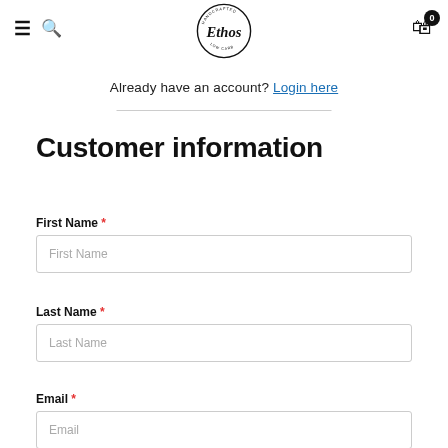Ethos logo, navigation menu, search, cart (0)
Already have an account? Login here
Customer information
First Name *
Last Name *
Email *